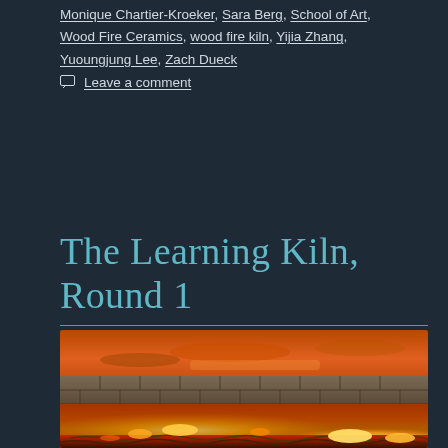Monique Chartier-Kroeker, Sara Berg, School of Art, Wood Fire Ceramics, wood fire kiln, Yijia Zhang, Yuoungjung Lee, Zach Dueck
Leave a comment
The Learning Kiln, Round 1
[Figure (photo): A wood fire kiln glowing with bright orange flames and embers visible through the kiln opening, with brick walls surrounding it and an orange sunset sky visible at the top.]